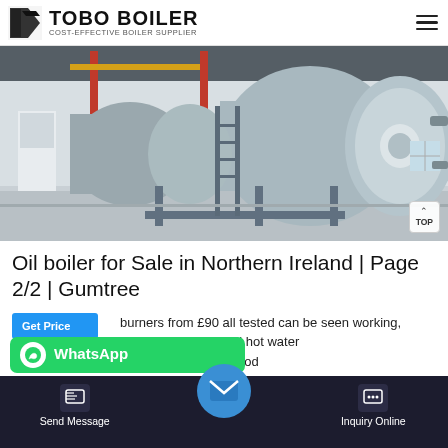TOBO BOILER — COST-EFFECTIVE BOILER SUPPLIER
[Figure (photo): Industrial boiler room showing large cylindrical horizontal boilers in gray/blue finish, mounted on metal frames with red and yellow pipes overhead, inside a white-walled industrial facility.]
Oil boiler for Sale in Northern Ireland | Page 2/2 | Gumtree
burners from £90 all tested can be seen working, ndard, stainless steel hot water e p tanks b ion od
Send Message | Inquiry Online